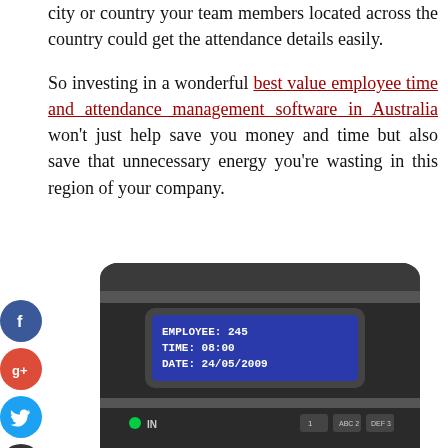city or country your team members located across the country could get the attendance details easily.
So investing in a wonderful best value employee time and attendance management software in Australia won't just help save you money and time but also save that unnecessary energy you're wasting in this region of your company.
[Figure (photo): A time and attendance device showing a digital display with EMPLOYEE: 245, TIME: 08:00, DATE: 24/05/2009, along with social media share icons (Facebook, Google+, Twitter, Add) on the left side]